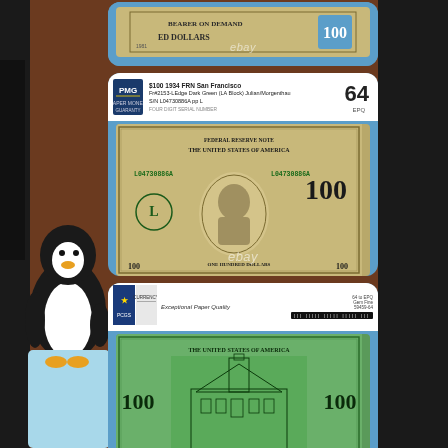[Figure (photo): Top partial view of a $100 Federal Reserve Note in a blue PMG holder, showing 'ONE HUNDRED DOLLARS' and '100' denomination markings with ebay watermark]
[Figure (photo): PMG graded $100 1934 FRN San Francisco note front side in blue holder. PMG label reads: $100 1934 FRN San Francisco, Fr#2153-LEdge Dark Green (LA Block) Julian/Morgenthau, S/N L04730886A pp L. Grade: 64 EPQ. Shows portrait of Benjamin Franklin on the front of the note.]
[Figure (photo): Back side of $100 1934 FRN San Francisco in PCGS/NGC style holder with 'Exceptional Paper Quality' label and barcode. Shows Independence Hall on the back of the note in green.]
[Figure (infographic): Brown button with rounded corners and light border reading 'More Information' with ebay sub-label]
[Figure (infographic): Brown button with rounded corners and light border reading 'View Price' with ebay sub-label]